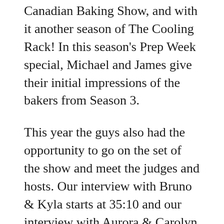Canadian Baking Show, and with it another season of The Cooling Rack! In this season's Prep Week special, Michael and James give their initial impressions of the bakers from Season 3.
This year the guys also had the opportunity to go on the set of the show and meet the judges and hosts. Our interview with Bruno & Kyla starts at 35:10 and our interview with Aurora & Carolyn starts at 51:05. (Sorry if there's any airplane noise in the interviews—we were outside!)
We've got lots of exciting and fun new content for this new season, so be sure to subscribe to The Cooling Rack so you don't miss a thing!